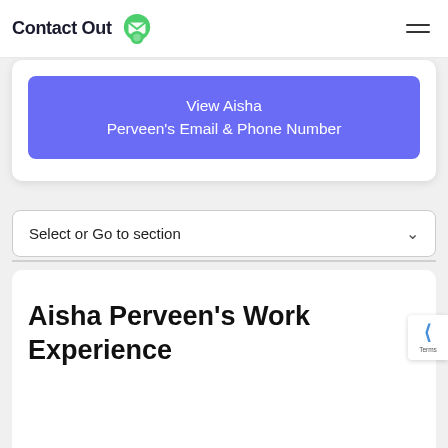ContactOut
View Aisha Perveen's Email & Phone Number
Select or Go to section
Aisha Perveen's Work Experience